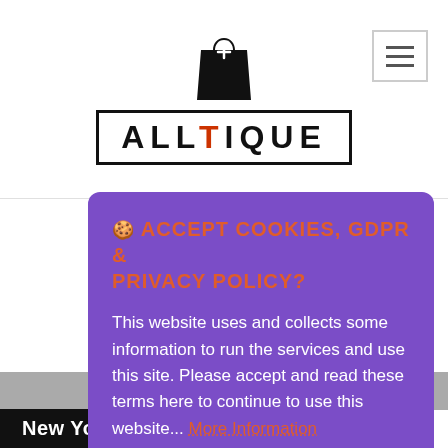ALLTIQUE — website header with logo and hamburger menu
🍪 ACCEPT COOKIES, GDPR & PRIVACY POLICY?
This website uses and collects some information to run the services and use this site. Please accept and read these terms here to continue to use this website... More Information
Accept Cookies and Privacy, GDP Policy
Customise Cookies
New York, US